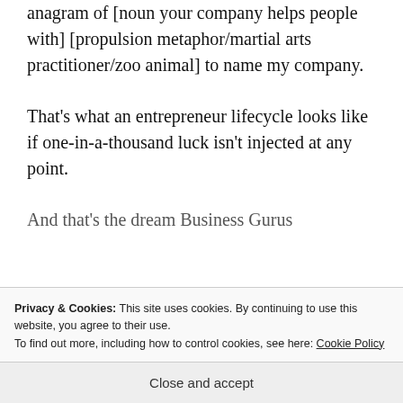anagram of [noun your company helps people with] [propulsion metaphor/martial arts practitioner/zoo animal] to name my company.
That's what an entrepreneur lifecycle looks like if one-in-a-thousand luck isn't injected at any point.
And that's the dream Business Gurus
Privacy & Cookies: This site uses cookies. By continuing to use this website, you agree to their use.
To find out more, including how to control cookies, see here: Cookie Policy
Close and accept